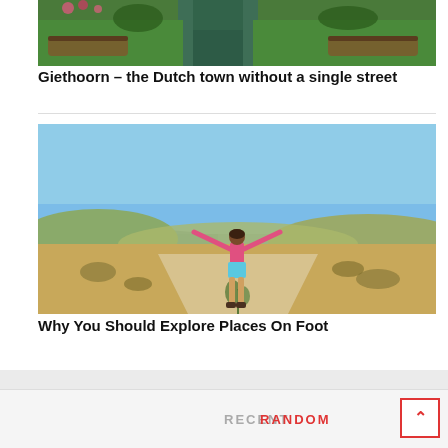[Figure (photo): Canal scene in Giethoorn, Netherlands, with wooden boats floating on a narrow canal lined with green grass and flowers]
Giethoorn – the Dutch town without a single street
[Figure (photo): Woman with arms outstretched standing on a dirt path overlooking a Mediterranean landscape with blue sea, dry hills, and shrubs]
Why You Should Explore Places On Foot
RECENT    RANDOM